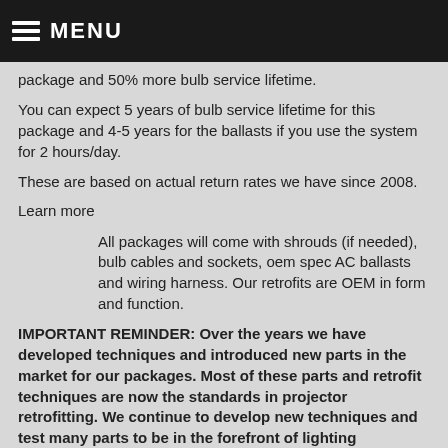MENU
package and 50% more bulb service lifetime.
You can expect 5 years of bulb service lifetime for this package and 4-5 years for the ballasts if you use the system for 2 hours/day.
These are based on actual return rates we have since 2008.
Learn more
All packages will come with shrouds (if needed), bulb cables and sockets, oem spec AC ballasts and wiring harness. Our retrofits are OEM in form and function.
IMPORTANT REMINDER: Over the years we have developed techniques and introduced new parts in the market for our packages. Most of these parts and retrofit techniques are now the standards in projector retrofitting. We continue to develop new techniques and test many parts to be in the forefront of lighting innovation. In view of this we would like to advise the buying public to be careful in comparing packages from other shops.